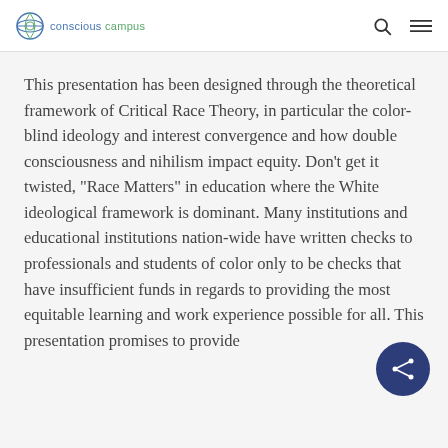conscious campus
This presentation has been designed through the theoretical framework of Critical Race Theory, in particular the color-blind ideology and interest convergence and how double consciousness and nihilism impact equity. Don’t get it twisted, “Race Matters” in education where the White ideological framework is dominant. Many institutions and educational institutions nation-wide have written checks to professionals and students of color only to be checks that have insufficient funds in regards to providing the most equitable learning and work experience possible for all. This presentation promises to provide